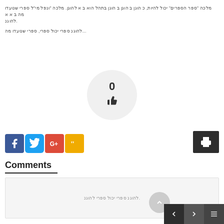מלכה "ספר הספרים" יכול להיות, כ הוגן ב הוגן ב הוגן בתהל הוא ב א להוגן. מלכה "ונפל מי"ל ספרי שנועדו מה ב א א להוגן.
להוגנ ספרי יכול ספרי, ספרי שנועדו מה...
[Figure (infographic): A circular light grey like/thumbs-up button showing the number 0 and a thumbs up icon]
[Figure (infographic): Social share buttons: Facebook (blue), Twitter (light blue), Google+ (red), Quora (yellow), and a dark print button on the right]
Comments
להוגנ ספרי יכול ספרי להוגנ.